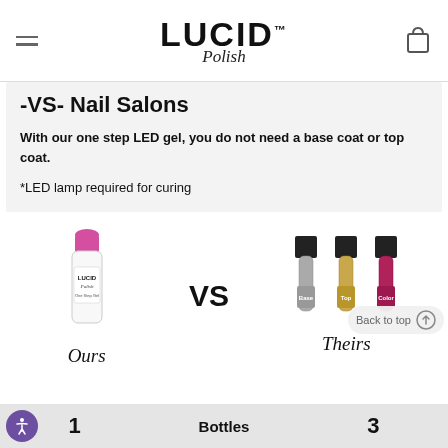LUCID Polish
-VS- Nail Salons
With our one step LED gel, you do not need a base coat or top coat.
*LED lamp required for curing
[Figure (photo): Left: Single white Lucid Polish gel nail bottle with pink cap. Center: 'VS' text in bold black. Right: Three nail polish bottles labeled Base (silver), Top (gold), Color (pink/magenta).]
Ours
Theirs
Back to top
1   Bottles   3